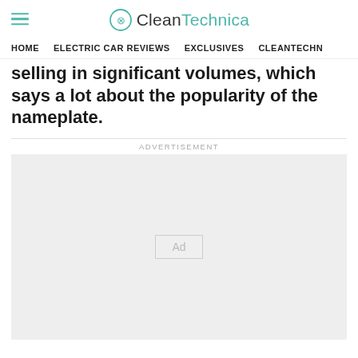CleanTechnica
HOME   ELECTRIC CAR REVIEWS   EXCLUSIVES   CLEANTECHN
selling in significant volumes, which says a lot about the popularity of the nameplate.
[Figure (other): Advertisement placeholder box with 'Ad' label in center]